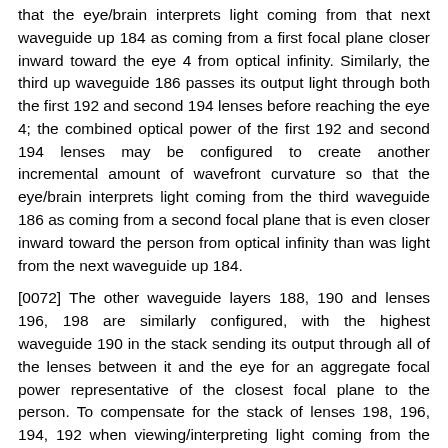that the eye/brain interprets light coming from that next waveguide up 184 as coming from a first focal plane closer inward toward the eye 4 from optical infinity. Similarly, the third up waveguide 186 passes its output light through both the first 192 and second 194 lenses before reaching the eye 4; the combined optical power of the first 192 and second 194 lenses may be configured to create another incremental amount of wavefront curvature so that the eye/brain interprets light coming from the third waveguide 186 as coming from a second focal plane that is even closer inward toward the person from optical infinity than was light from the next waveguide up 184.
[0072] The other waveguide layers 188, 190 and lenses 196, 198 are similarly configured, with the highest waveguide 190 in the stack sending its output through all of the lenses between it and the eye for an aggregate focal power representative of the closest focal plane to the person. To compensate for the stack of lenses 198, 196, 194, 192 when viewing/interpreting light coming from the world 144 on the other side of the stacked